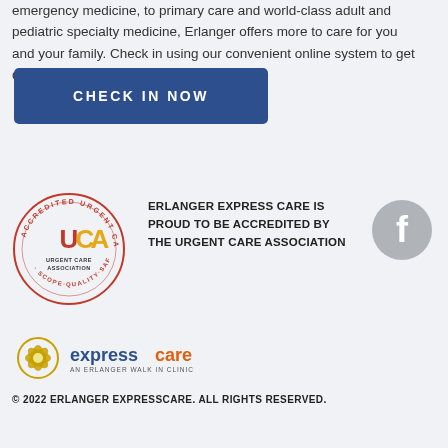emergency medicine, to primary care and world-class adult and pediatric specialty medicine, Erlanger offers more to care for you and your family. Check in using our convenient online system to get quick, quality care.
[Figure (other): Blue button with text CHECK IN NOW]
[Figure (logo): UCA Urgent Care Association Accredited Urgent Care Center circular seal logo]
ERLANGER EXPRESS CARE IS PROUD TO BE ACCREDITED BY THE URGENT CARE ASSOCIATION
[Figure (logo): Facebook icon - grey circular logo with white F]
[Figure (logo): expresscare AN ERLANGER WALK IN CLINIC logo]
© 2022 ERLANGER EXPRESSCARE. ALL RIGHTS RESERVED.